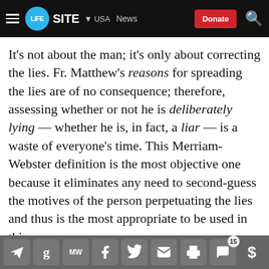LifeSite — USA News
It's not about the man; it's only about correcting the lies. Fr. Matthew's reasons for spreading the lies are of no consequence; therefore, assessing whether or not he is deliberately lying — whether he is, in fact, a liar — is a waste of everyone's time. This Merriam-Webster definition is the most objective one because it eliminates any need to second-guess the motives of the person perpetuating the lies and thus is the most appropriate to be used in this case.
Fr. Matthew, however, spent an inordinate amount of time in his blog post (two full pages out of nine) claiming that the use of the aforementioned dictionary definition did not meet with his approval.
Social share toolbar with icons: send, g, MW, facebook, twitter, mail, print, comment (15), donate